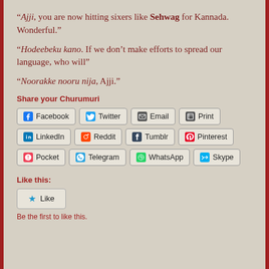“Ajji, you are now hitting sixers like Sehwag for Kannada. Wonderful.”
“Hodeebeku kano. If we don’t make efforts to spread our language, who will”
“Noorakke nooru nija, Ajji.”
Share your Churumuri
[Figure (other): Social share buttons: Facebook, Twitter, Email, Print, LinkedIn, Reddit, Tumblr, Pinterest, Pocket, Telegram, WhatsApp, Skype]
Like this:
[Figure (other): Like button with star icon]
Be the first to like this.